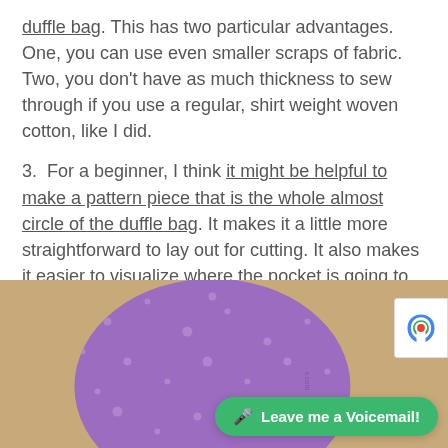duffle bag. This has two particular advantages. One, you can use even smaller scraps of fabric. Two, you don't have as much thickness to sew through if you use a regular, shirt weight woven cotton, like I did.
3.  For a beginner, I think it might be helpful to make a pattern piece that is the whole almost circle of the duffle bag. It makes it a little more straightforward to lay out for cutting. It also makes it easier to visualize where the pocket is going to be placed on the side of the duffle bag.
[Figure (photo): Photo of a purple floral fabric circle piece laid on a brown cardboard surface, partially visible. A green 'Leave me a Voicemail!' button overlay is shown at the bottom right, and a reCAPTCHA badge is visible at the right edge.]